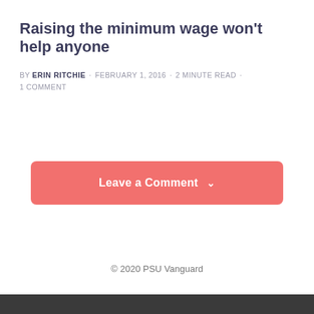Raising the minimum wage won't help anyone
by ERIN RITCHIE · FEBRUARY 1, 2016 · 2 MINUTE READ · 1 COMMENT
Leave a Comment ∨
© 2020 PSU Vanguard